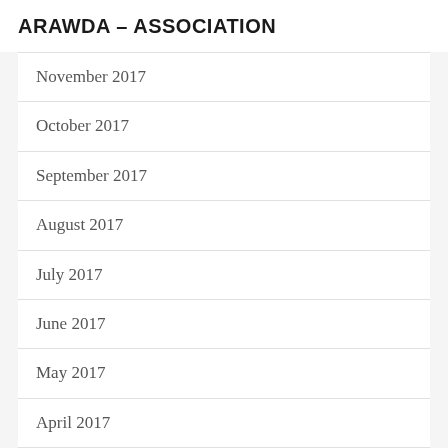ARAWDA – ASSOCIATION
November 2017
October 2017
September 2017
August 2017
July 2017
June 2017
May 2017
April 2017
March 2017
February 2017
January 2017